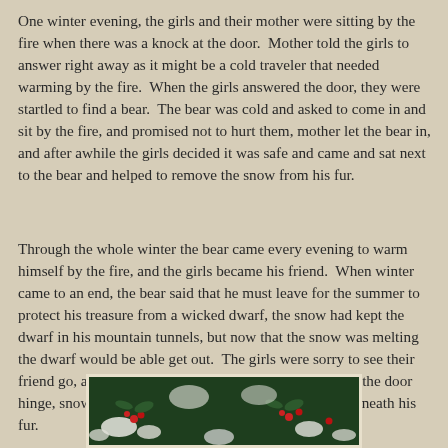One winter evening, the girls and their mother were sitting by the fire when there was a knock at the door.  Mother told the girls to answer right away as it might be a cold traveler that needed warming by the fire.  When the girls answered the door, they were startled to find a bear.  The bear was cold and asked to come in and sit by the fire, and promised not to hurt them, mother let the bear in, and after awhile the girls decided it was safe and came and sat next to the bear and helped to remove the snow from his fur.
Through the whole winter the bear came every evening to warm himself by the fire, and the girls became his friend.  When winter came to an end, the bear said that he must leave for the summer to protect his treasure from a wicked dwarf, the snow had kept the dwarf in his mountain tunnels, but now that the snow was melting the dwarf would be able get out.  The girls were sorry to see their friend go, and as the bear left, a bit of his fir snagged on the door hinge, snow white thought she saw a glimmer of gold beneath his fur.
[Figure (photo): Partial image showing a dark green background with white and red floral or decorative elements, appearing to be the bottom portion of an illustrated scene.]